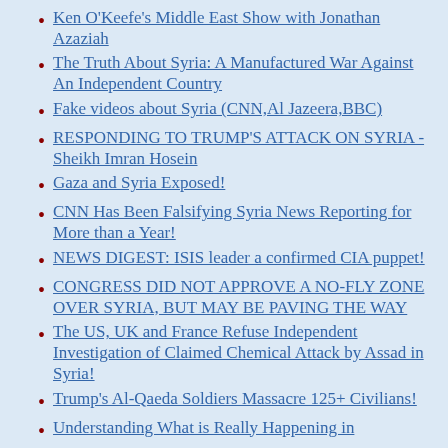Ken O'Keefe's Middle East Show with Jonathan Azaziah
The Truth About Syria: A Manufactured War Against An Independent Country
Fake videos about Syria (CNN,Al Jazeera,BBC)
RESPONDING TO TRUMP'S ATTACK ON SYRIA - Sheikh Imran Hosein
Gaza and Syria Exposed!
CNN Has Been Falsifying Syria News Reporting for More than a Year!
NEWS DIGEST: ISIS leader a confirmed CIA puppet!
CONGRESS DID NOT APPROVE A NO-FLY ZONE OVER SYRIA, BUT MAY BE PAVING THE WAY
The US, UK and France Refuse Independent Investigation of Claimed Chemical Attack by Assad in Syria!
Trump's Al-Qaeda Soldiers Massacre 125+ Civilians!
Understanding What is Really Happening in